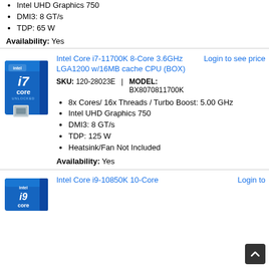Intel UHD Graphics 750
DMI3: 8 GT/s
TDP: 65 W
Availability: Yes
[Figure (photo): Intel Core i7 CPU box – blue box with Intel Core branding and chip visible]
Intel Core i7-11700K 8-Core 3.6GHz LGA1200 w/16MB cache CPU (BOX)
Login to see price
SKU: 120-28023E  |  MODEL: BX8070811700K
8x Cores/ 16x Threads / Turbo Boost: 5.00 GHz
Intel UHD Graphics 750
DMI3: 8 GT/s
TDP: 125 W
Heatsink/Fan Not Included
Availability: Yes
[Figure (photo): Intel Core i9 CPU box – blue box with Intel branding, partially visible]
Intel Core i9-10850K 10-Core
Login to